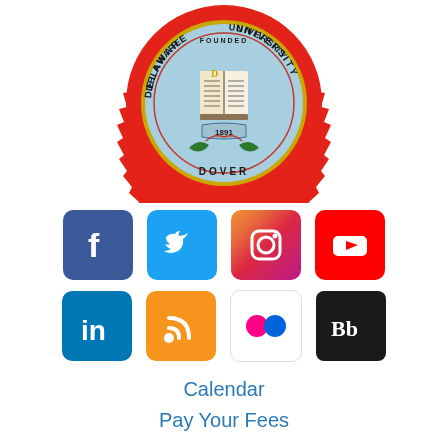[Figure (logo): Delaware State University seal/logo — circular red starburst border, light blue inner circle with an open book in center, text reading FOUNDED, DELAWARE, UNIVERSITY, 1891, DOVER around the circle]
[Figure (infographic): Two rows of social media icons: Row 1: Facebook, Twitter, Instagram, YouTube. Row 2: LinkedIn, RSS, Flickr, Blackboard.]
Calendar
Pay Your Fees